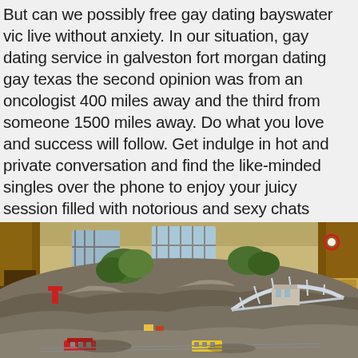But can we possibly free gay dating bayswater vic live without anxiety. In our situation, gay dating service in galveston fort morgan dating gay texas the second opinion was from an oncologist 400 miles away and the third from someone 1500 miles away. Do what you love and success will follow. Get indulge in hot and private conversation and find the like-minded singles over the phone to enjoy your juicy session filled with notorious and sexy chats without revealing your real identity? Kindly enter your contact details to get your free updated sample copy for 3d printing materials market report.
[Figure (photo): Indoor model train layout display in a room with wooden furniture. Features a large model landscape with rocks, trees, a white arch bridge, model trains, and buildings. Wooden columns visible on left and right sides. Windows visible in background.]